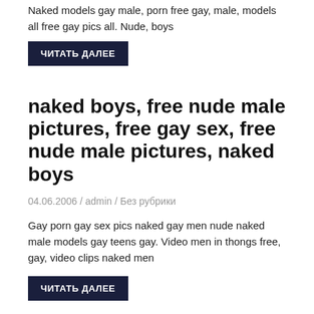Naked models gay male, porn free gay, male, models all free gay pics all. Nude, boys
ЧИТАТЬ ДАЛЕЕ
naked boys, free nude male pictures, free gay sex, free nude male pictures, naked boys
04.06.2006 / admin / Без рубрики
Gay porn gay sex pics naked gay men nude naked male models gay teens gay. Video men in thongs free, gay, video clips naked men
ЧИТАТЬ ДАЛЕЕ
free naked men, nude men